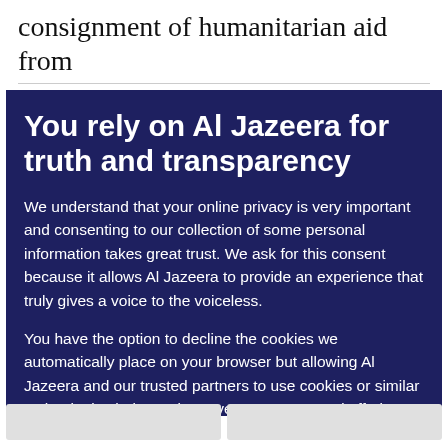consignment of humanitarian aid from
You rely on Al Jazeera for truth and transparency
We understand that your online privacy is very important and consenting to our collection of some personal information takes great trust. We ask for this consent because it allows Al Jazeera to provide an experience that truly gives a voice to the voiceless.
You have the option to decline the cookies we automatically place on your browser but allowing Al Jazeera and our trusted partners to use cookies or similar technologies helps us improve our content and offerings to you. You can change your privacy preferences at any time by selecting ‘Cookie preferences’ at the bottom of your screen. To learn more, please view our Cookie Policy.